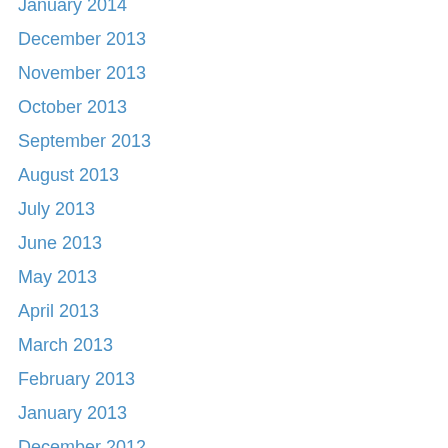January 2014
December 2013
November 2013
October 2013
September 2013
August 2013
July 2013
June 2013
May 2013
April 2013
March 2013
February 2013
January 2013
December 2012
September 2012
August 2012
July 2012
June 2012
May 2012
April 2012